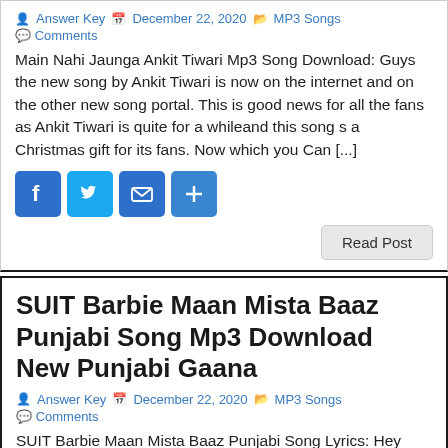Answer Key  December 22, 2020  MP3 Songs  Comments
Main Nahi Jaunga Ankit Tiwari Mp3 Song Download: Guys the new song by Ankit Tiwari is now on the internet and on the other new song portal. This is good news for all the fans as Ankit Tiwari is quite for a whileand this song s a Christmas gift for its fans. Now which you Can [...]
[Figure (infographic): Social share buttons: Facebook, Twitter, Email, Share (plus icon)]
Read Post
SUIT Barbie Maan Mista Baaz Punjabi Song Mp3 Download New Punjabi Gaana
Answer Key  December 22, 2020  MP3 Songs  Comments
SUIT Barbie Maan Mista Baaz Punjabi Song Lyrics: Hey guys, The new punjabi song of Barbie Maan is now out on the internet. It's a great song by Barbie Maan and Mista Baaz teh